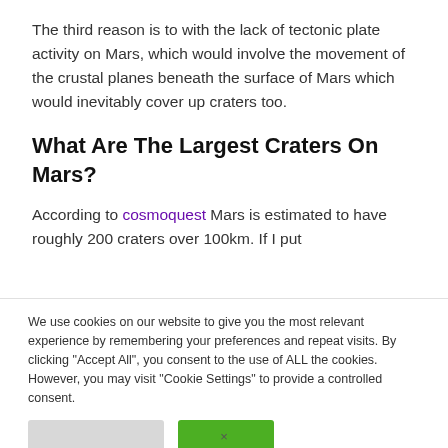The third reason is to with the lack of tectonic plate activity on Mars, which would involve the movement of the crustal planes beneath the surface of Mars which would inevitably cover up craters too.
What Are The Largest Craters On Mars?
According to cosmoquest Mars is estimated to have roughly 200 craters over 100km. If I put
We use cookies on our website to give you the most relevant experience by remembering your preferences and repeat visits. By clicking "Accept All", you consent to the use of ALL the cookies. However, you may visit "Cookie Settings" to provide a controlled consent.
×